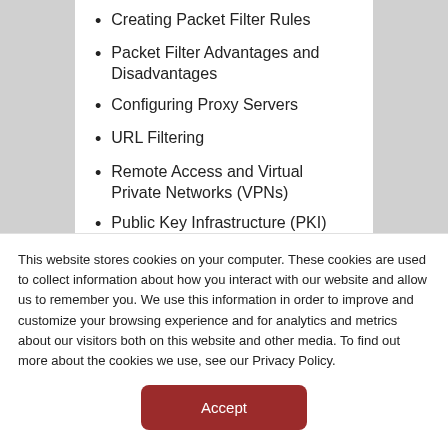Creating Packet Filter Rules
Packet Filter Advantages and Disadvantages
Configuring Proxy Servers
URL Filtering
Remote Access and Virtual Private Networks (VPNs)
Public Key Infrastructure (PKI)
Levels of Firewall Protection
This website stores cookies on your computer. These cookies are used to collect information about how you interact with our website and allow us to remember you. We use this information in order to improve and customize your browsing experience and for analytics and metrics about our visitors both on this website and other media. To find out more about the cookies we use, see our Privacy Policy.